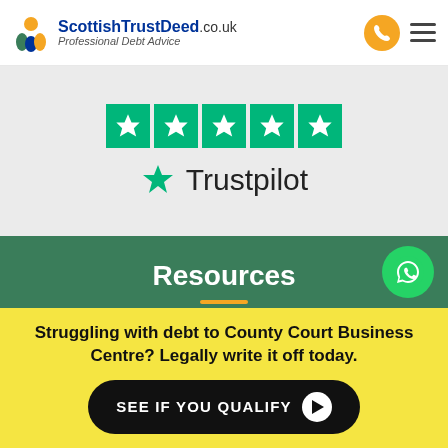ScottishTrustDeed.co.uk — Professional Debt Advice
[Figure (logo): Trustpilot section with 5 green star boxes and Trustpilot logo text on grey background]
Resources
How Does A Trust Deed Affect Your Credit Rating?
Rebuilding Your Credit Rating After A Trust Deed
Trust Deed FAQ
Struggling with debt to County Court Business Centre? Legally write it off today.
SEE IF YOU QUALIFY